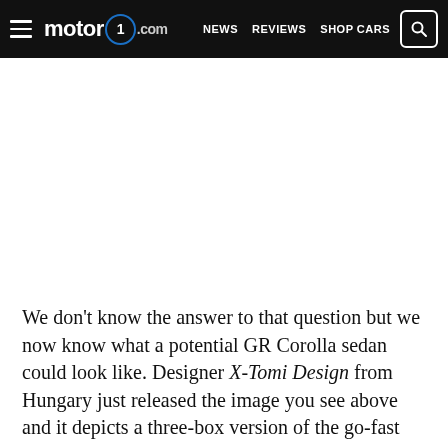motor1.com — NEWS  REVIEWS  SHOP CARS
[Figure (photo): White blank image area where a car photo would appear (GR Corolla sedan render by X-Tomi Design)]
We don't know the answer to that question but we now know what a potential GR Corolla sedan could look like. Designer X-Tomi Design from Hungary just released the image you see above and it depicts a three-box version of the go-fast Corolla. It obviously